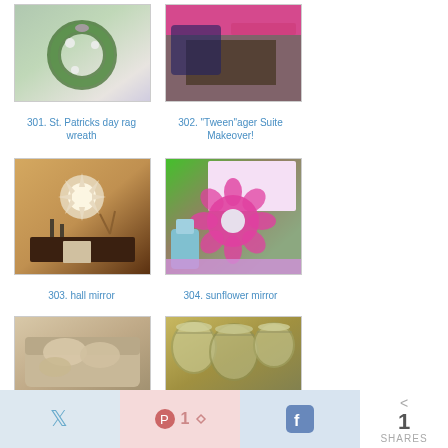[Figure (photo): Green wreath on white door, item 301]
301. St. Patricks day rag wreath
[Figure (photo): Pink and black tween room makeover, item 302]
302. "Tween"ager Suite Makeover!
[Figure (photo): Hall with starburst mirror above dark console, item 303]
303. hall mirror
[Figure (photo): Sunflower mirror on green painted wall, item 304]
304. sunflower mirror
[Figure (photo): Beige loveseat with pillows, item 305]
[Figure (photo): Mason jars close-up, item 306]